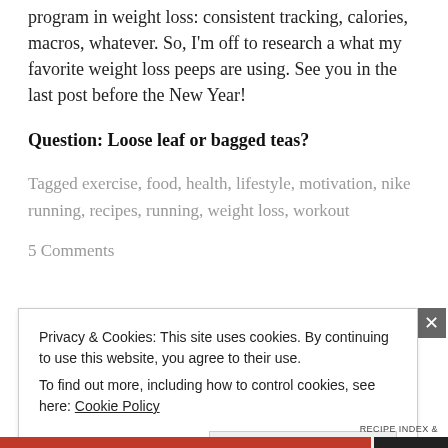program in weight loss: consistent tracking, calories, macros, whatever. So, I'm off to research a what my favorite weight loss peeps are using. See you in the last post before the New Year!
Question: Loose leaf or bagged teas?
Tagged exercise, food, health, lifestyle, motivation, nike running, recipes, running, weight loss, workout
5 Comments
Privacy & Cookies: This site uses cookies. By continuing to use this website, you agree to their use.
To find out more, including how to control cookies, see here: Cookie Policy
Close and accept